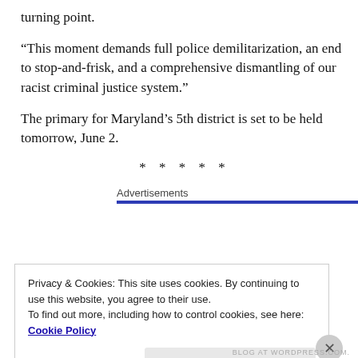turning point.
“This moment demands full police demilitarization, an end to stop-and-frisk, and a comprehensive dismantling of our racist criminal justice system.”
The primary for Maryland’s 5th district is set to be held tomorrow, June 2.
* * * * *
Advertisements
Privacy & Cookies: This site uses cookies. By continuing to use this website, you agree to their use.
To find out more, including how to control cookies, see here: Cookie Policy
Close and accept
BLOG AT WORDPRESS.COM.